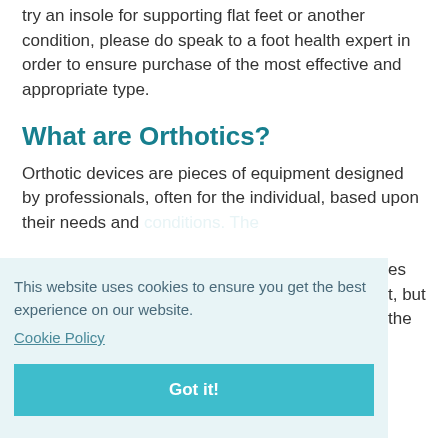try an insole for supporting flat feet or another condition, please do speak to a foot health expert in order to ensure purchase of the most effective and appropriate type.
What are Orthotics?
Orthotic devices are pieces of equipment designed by professionals, often for the individual, based upon their needs and conditions. There are many different types available on the market, but speaking to a professional in the field is the
This website uses cookies to ensure you get the best experience on our website.
Cookie Policy
Got it!